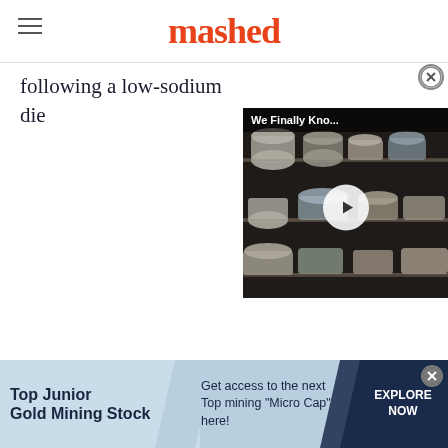mashed
following a low-sodium die…
[Figure (screenshot): Video overlay showing cheese shelf in grocery store with title 'We Finally Kno...' and a play button]
[Figure (infographic): Advertisement banner: 'Top Junior Gold Mining Stock' — Get access to the next Top mining "Micro Cap" here! — EXPLORE NOW]